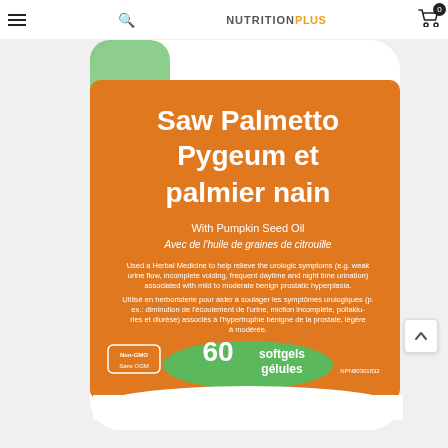NutritionPlus navigation bar with menu, search, logo, and cart
[Figure (photo): Close-up of a supplement bottle label on an orange background. The label reads: 'Saw Palmetto Pygeum et palmier nain' (headline), 'With Pumpkin Seed Oil / Avec de l'huile de graines de citrouille', body text about herbal medicine usage in English and French, and '60 softgels / gélules' with NPN number. Non-GMO / Sans OGM badge visible.]